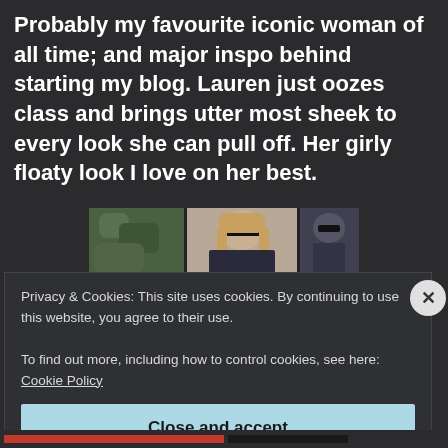Probably my favourite iconic woman of all time; and major inspo behind starting my blog. Lauren just oozes class and brings utter most sheek to every look she can pull off. Her girly floaty look I love on her best.
[Figure (photo): Photo of a woman wearing sunglasses outdoors, with another person partially visible behind her, in front of green foliage and a dark doorway.]
Privacy & Cookies: This site uses cookies. By continuing to use this website, you agree to their use.
To find out more, including how to control cookies, see here: Cookie Policy
Close and accept